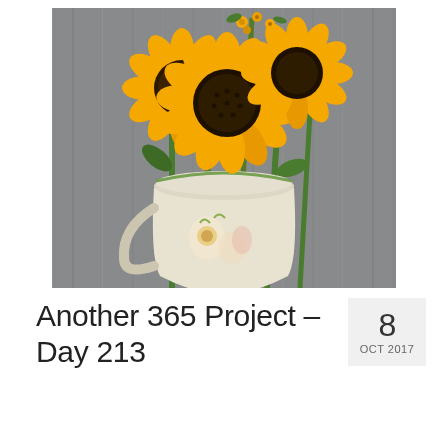[Figure (photo): Photograph of sunflowers in a white decorative ceramic pitcher/jug with floral painted motifs, set against a blurred grey background. Several bright yellow sunflowers with dark centers are displayed.]
Another 365 Project – Day 213
8 OCT 2017